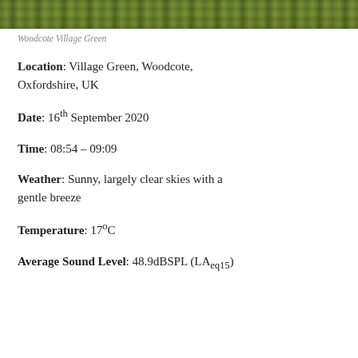[Figure (photo): Aerial or close-up photograph of Woodcote Village Green showing grass and fallen leaves]
Woodcote Village Green
Location: Village Green, Woodcote, Oxfordshire, UK
Date: 16th September 2020
Time: 08:54 – 09:09
Weather: Sunny, largely clear skies with a gentle breeze
Temperature: 17°C
Average Sound Level: 48.9dBSPL (LAeq15)